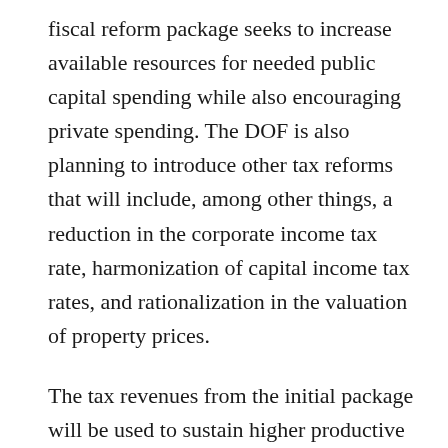fiscal reform package seeks to increase available resources for needed public capital spending while also encouraging private spending.  The DOF is also planning to introduce other tax reforms that will include, among other things, a reduction in the corporate income tax rate, harmonization of capital income tax rates, and rationalization in the valuation of property prices.
The tax revenues from the initial package will be used to sustain higher productive investment spending for physical and human capital development, thus ultimately leading to gains for the economy in the medium-to-long run- Given a sustained increase in productive public investment and higher capital income from the gradual reduction in corporate